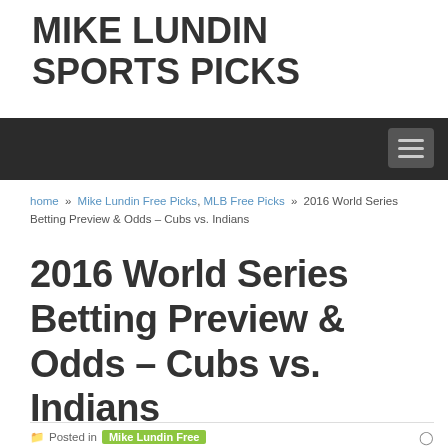MIKE LUNDIN SPORTS PICKS
[Figure (other): Dark navigation bar with hamburger menu icon on the right]
home » Mike Lundin Free Picks, MLB Free Picks » 2016 World Series Betting Preview & Odds – Cubs vs. Indians
2016 World Series Betting Preview & Odds – Cubs vs. Indians
Posted in  Mike Lundin Free